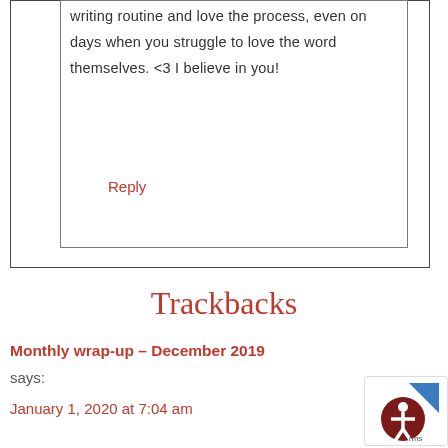writing routine and love the process, even on days when you struggle to love the word themselves. <3 I believe in you!
Reply
Trackbacks
Monthly wrap-up – December 2019 says:
January 1, 2020 at 7:04 am